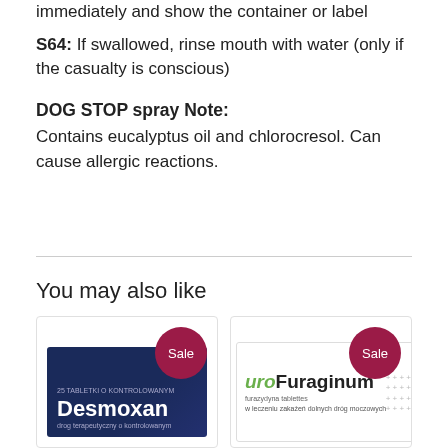If swallowed, seek medical advice immediately and show the container or label
S64: If swallowed, rinse mouth with water (only if the casualty is conscious)
DOG STOP spray Note:
Contains eucalyptus oil and chlorocresol. Can cause allergic reactions.
You may also like
[Figure (photo): Desmoxan product box with Sale badge]
[Figure (photo): uroFuraginum product box with Sale badge]